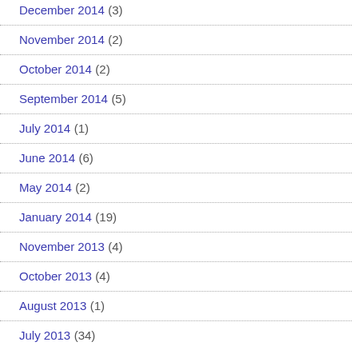December 2014 (3)
November 2014 (2)
October 2014 (2)
September 2014 (5)
July 2014 (1)
June 2014 (6)
May 2014 (2)
January 2014 (19)
November 2013 (4)
October 2013 (4)
August 2013 (1)
July 2013 (34)